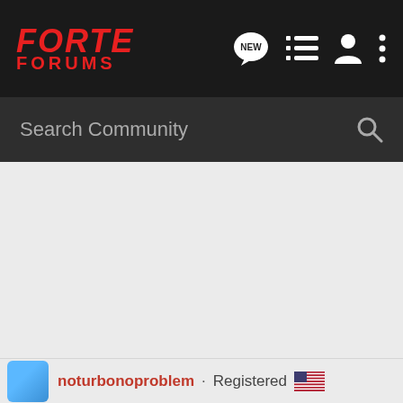[Figure (logo): Forte Forums logo — red italic bold text 'FORTE' above 'FORUMS' in red, on dark background]
[Figure (screenshot): Navigation bar icons: speech bubble with NEW label, list icon, user icon, vertical dots menu icon]
Search Community
[Figure (screenshot): Grey main content area, empty]
noturbonoproblem · Registered 🇺🇸